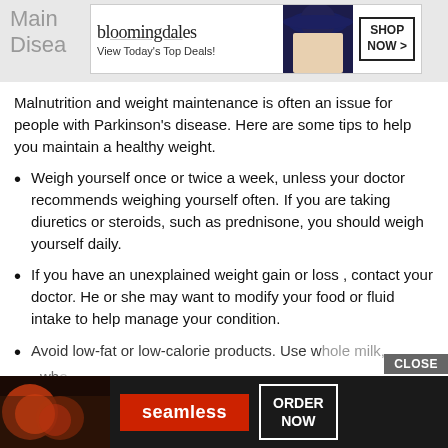Main Disease
[Figure (screenshot): Bloomingdale's advertisement banner: logo, 'View Today's Top Deals!', fashion photo, 'SHOP NOW >' button]
Malnutrition and weight maintenance is often an issue for people with Parkinson's disease. Here are some tips to help you maintain a healthy weight.
Weigh yourself once or twice a week, unless your doctor recommends weighing yourself often. If you are taking diuretics or steroids, such as prednisone, you should weigh yourself daily.
If you have an unexplained weight gain or loss , contact your doctor. He or she may want to modify your food or fluid intake to help manage your condition.
Avoid low-fat or low-calorie products. Use whole milk, who…
[Figure (screenshot): Seamless food delivery advertisement with pizza image, red Seamless badge, 'ORDER NOW' button, and 'CLOSE' button]